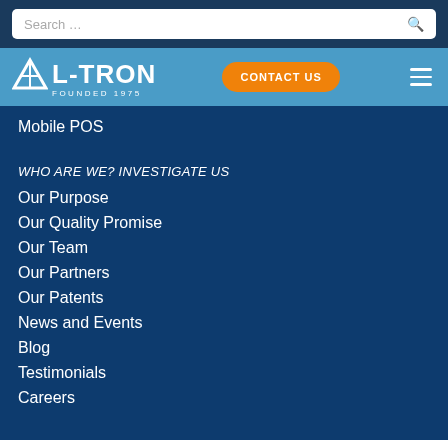Search …
[Figure (logo): L-TRON logo with triangle icon, Founded 1975, on blue background with Contact Us button and hamburger menu]
Mobile POS
WHO ARE WE? INVESTIGATE US
Our Purpose
Our Quality Promise
Our Team
Our Partners
Our Patents
News and Events
Blog
Testimonials
Careers